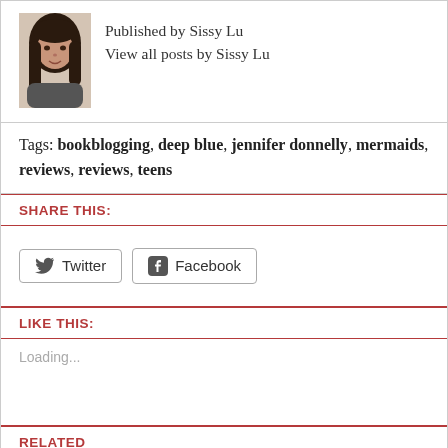Published by Sissy Lu
View all posts by Sissy Lu
Tags: bookblogging, deep blue, jennifer donnelly, mermaids, reviews, reviews, teens
SHARE THIS:
[Figure (other): Twitter and Facebook social share buttons]
LIKE THIS:
Loading...
RELATED
Alice in Zombieland by Gena Showalter
'Tis the season to be book tagged!